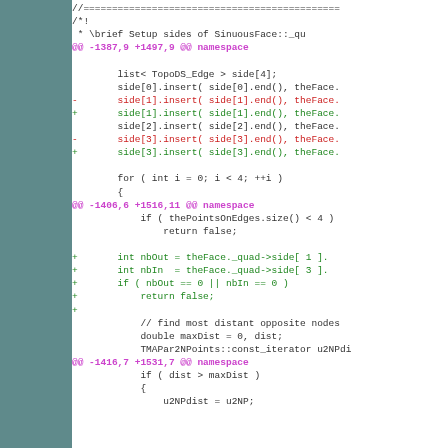[Figure (screenshot): Code diff showing changes to SinuousFace namespace with added and removed lines in magenta, red, and green colors]
Code diff content with hunk headers, removed lines (-), added lines (+), and context lines showing C++ source code modifications